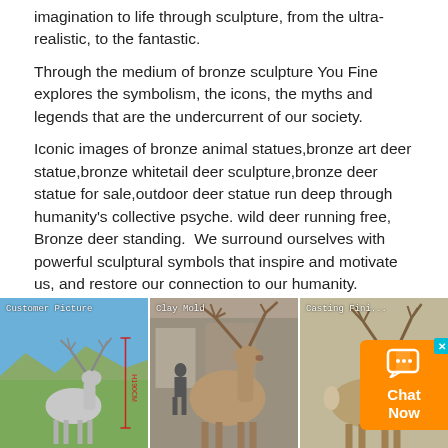imagination to life through sculpture, from the ultra-realistic, to the fantastic.
Through the medium of bronze sculpture You Fine explores the symbolism, the icons, the myths and legends that are the undercurrent of our society.
Iconic images of bronze animal statues,bronze art deer statue,bronze whitetail deer sculpture,bronze deer statue for sale,outdoor deer statue run deep through humanity's collective psyche. wild deer running free, Bronze deer standing.  We surround ourselves with powerful sculptural symbols that inspire and motivate us, and restore our connection to our humanity.
[Figure (photo): Three panels showing bronze deer statues: left panel shows a customer photo of a large metal deer statue outdoors in a field with blue sky; center panel shows a clay mold stage of a deer sculpture in a workshop; right panel shows a casting/finishing stage deer sculpture. A live chat widget overlay appears in the bottom right corner.]